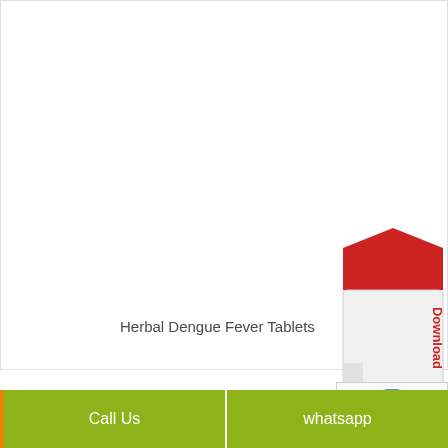[Figure (illustration): White empty product display area with border]
Herbal Dengue Fever Tablets
[Figure (other): Download Product List button shaped like a USB/memory card with red roof, showing text 'Download Product List' in red on white body]
[Figure (other): reCAPTCHA widget partial view showing blue arrows logo]
Call Us   whatsapp